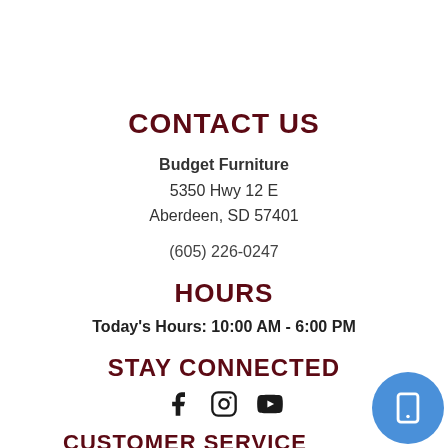CONTACT US
Budget Furniture
5350 Hwy 12 E
Aberdeen, SD 57401
(605) 226-0247
HOURS
Today's Hours: 10:00 AM - 6:00 PM
STAY CONNECTED
[Figure (infographic): Social media icons: Facebook, Instagram, YouTube]
CUSTOMER SERVICE
Contact Us
My Account